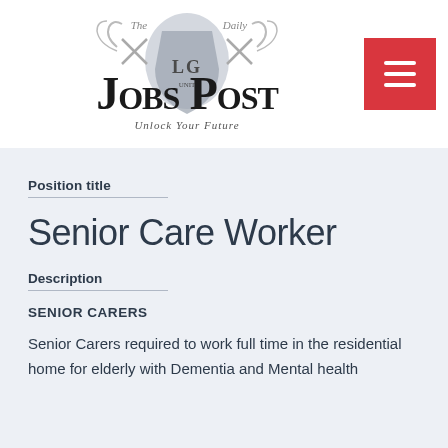[Figure (logo): The Daily Jobs Post logo — Gothic blackletter text 'Jobs Post' with decorative shield crest and tagline 'Unlock Your Future']
Position title
Senior Care Worker
Description
SENIOR CARERS
Senior Carers required to work full time in the residential home for elderly with Dementia and Mental health